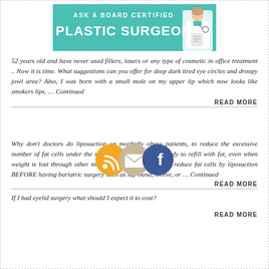[Figure (illustration): Banner image reading 'Ask a Board Certified Plastic Surgeon' with teal background and image of a female doctor on the right]
52 years old and have never used fillers, lasers or any type of cosmetic in office treatment .. Now it is time. What suggestions can you offer for deep dark tired eye circles and droopy jowl area? Also, I was born with a small mole on my upper lip which now looks like smokers lips. … Continued
READ MORE
[Figure (illustration): Three social media icons: RSS feed (orange), Email/envelope (beige/tan), and Facebook (blue)]
Why don't doctors do liposuction on morbidly obese patients, to reduce the excessive number of fat cells under the skin, which will remain, ready to refill with fat, even when weight is lost through other means? Is it ever possible to reduce fat cells by liposuction BEFORE having bariatric surgery such as lap-band, sleeve, or … Continued
READ MORE
If I had eyelid surgery what should I expect it to cost?
READ MORE